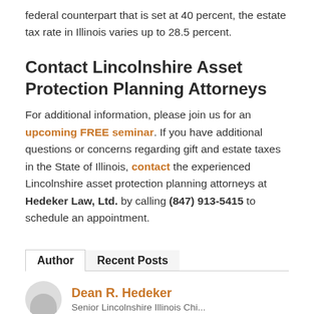federal counterpart that is set at 40 percent, the estate tax rate in Illinois varies up to 28.5 percent.
Contact Lincolnshire Asset Protection Planning Attorneys
For additional information, please join us for an upcoming FREE seminar. If you have additional questions or concerns regarding gift and estate taxes in the State of Illinois, contact the experienced Lincolnshire asset protection planning attorneys at Hedeker Law, Ltd. by calling (847) 913-5415 to schedule an appointment.
Author	Recent Posts
Dean R. Hedeker